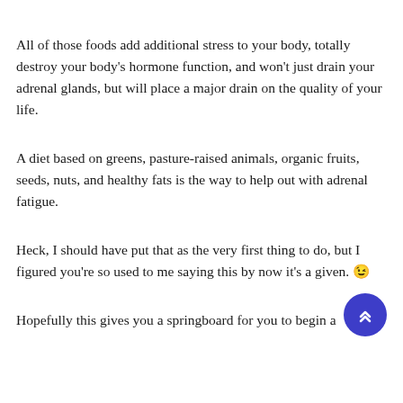All of those foods add additional stress to your body, totally destroy your body's hormone function, and won't just drain your adrenal glands, but will place a major drain on the quality of your life.
A diet based on greens, pasture-raised animals, organic fruits, seeds, nuts, and healthy fats is the way to help out with adrenal fatigue.
Heck, I should have put that as the very first thing to do, but I figured you're so used to me saying this by now it's a given. 😉
Hopefully this gives you a springboard for you to begin a
[Figure (other): Blue circular scroll-to-top button with double chevron arrows pointing upward]